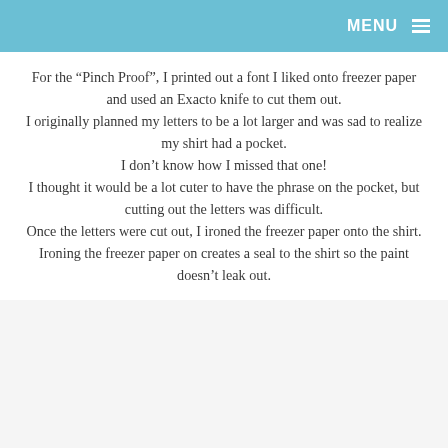MENU ☰
For the “Pinch Proof”, I printed out a font I liked onto freezer paper and used an Exacto knife to cut them out. I originally planned my letters to be a lot larger and was sad to realize my shirt had a pocket. I don’t know how I missed that one! I thought it would be a lot cuter to have the phrase on the pocket, but cutting out the letters was difficult. Once the letters were cut out, I ironed the freezer paper onto the shirt. Ironing the freezer paper on creates a seal to the shirt so the paint doesn’t leak out.